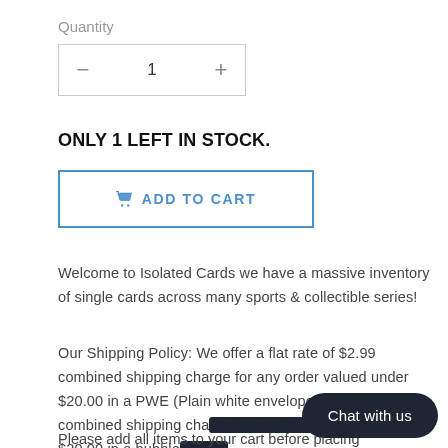Quantity
[Figure (other): Quantity selector with minus button, number 1, and plus button inside a bordered box]
ONLY 1 LEFT IN STOCK.
[Figure (other): Add to Cart button with shopping cart icon and blue border]
Welcome to Isolated Cards we have a massive inventory of single cards across many sports & collectible series!
Our Shipping Policy: We offer a flat rate of $2.99 combined shipping charge for any order valued under $20.00 in a PWE (Plain white envelope) and a $6.99 combined shipping cha... valued over $20.00 in a bubble...
Please add all items to your cart before placing
[Figure (other): Chat with us dark rounded button overlay in bottom right corner]